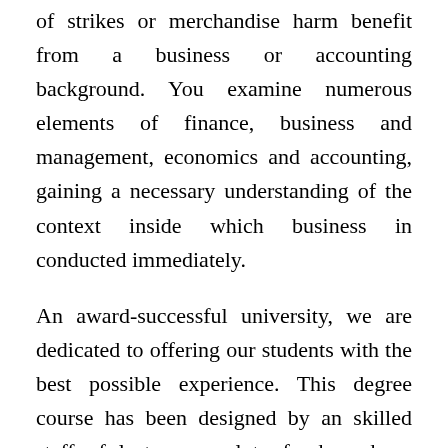of strikes or merchandise harm benefit from a business or accounting background. You examine numerous elements of finance, business and management, economics and accounting, gaining a necessary understanding of the context inside which business in conducted immediately.
An award-successful university, we are dedicated to offering our students with the best possible experience. This degree course has been designed by an skilled staff of lecturers, a lot of whom have experience working with financial accountants and directors in a variety of industries.
The workplace of the vice president for business and finance has broad duties in the areas of college-wide